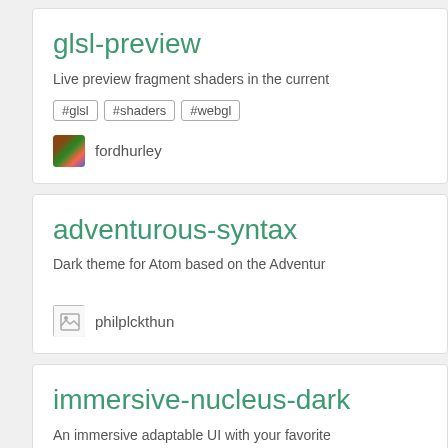glsl-preview
Live preview fragment shaders in the current
#glsl
#shaders
#webgl
fordhurley
adventurous-syntax
Dark theme for Atom based on the Adventur
philplckthun
immersive-nucleus-dark
An immersive adaptable UI with your favorite
#immersive
#dark
#adaptive
#ui